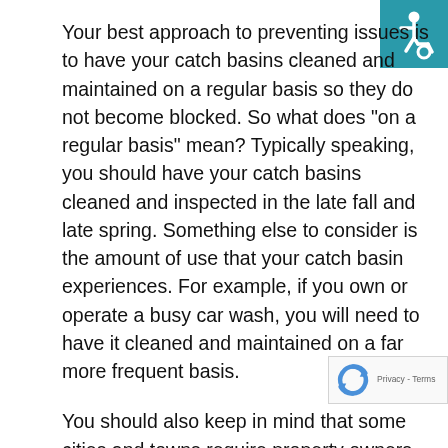Your best approach to preventing issues is to have your catch basins cleaned and maintained on a regular basis so they do not become blocked. So what does “on a regular basis” mean? Typically speaking, you should have your catch basins cleaned and inspected in the late fall and late spring. Something else to consider is the amount of use that your catch basin experiences. For example, if you own or operate a busy car wash, you will need to have it cleaned and maintained on a far more frequent basis.
You should also keep in mind that some cities and towns require property owners to have their catch basins cleaned and inspected based on a particular schedule. In addition, the task must be performed more frequently if the catch basin is located in an area that has an excessive amount of fallen lea...
[Figure (illustration): International Symbol of Access (wheelchair accessibility icon) on a teal/cyan background square in the top-right corner of the page.]
[Figure (logo): Google reCAPTCHA badge overlay in the bottom-right corner showing a circular arrow reCAPTCHA logo and 'Privacy - Terms' text.]